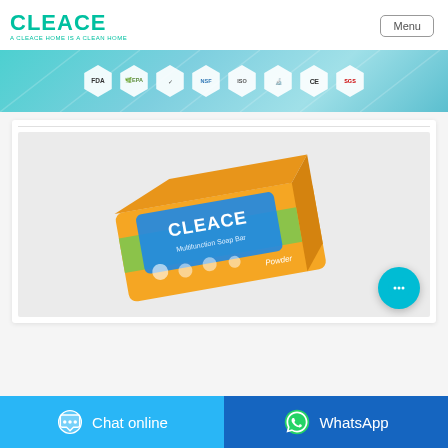CLEACE — A CLEACE HOME IS A CLEAN HOME | Menu
[Figure (infographic): Teal/cyan banner showing 8 certification badges: FDA, EPA, and 6 other certification logos in hexagonal/circular white badges]
[Figure (photo): Photo of a Cleace branded laundry detergent bar/soap box with orange and yellow packaging, 'Cleace' branding in blue letters, on a white background, inside a white product card]
Chat online
WhatsApp